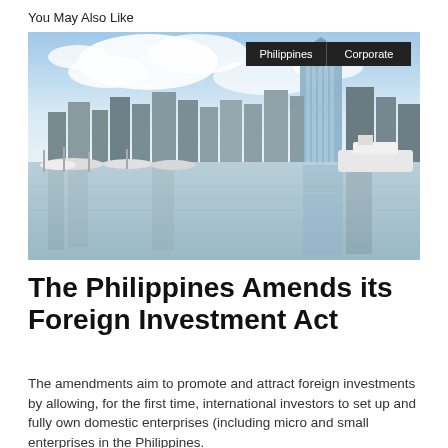You May Also Like
[Figure (photo): Cityscape of Manila, Philippines, showing a marina with yachts in the foreground and modern skyscrapers reflected in calm water under a partly cloudy sky. Tags 'Philippines' and 'Corporate' appear in the upper right corner of the image.]
The Philippines Amends its Foreign Investment Act
The amendments aim to promote and attract foreign investments by allowing, for the first time, international investors to set up and fully own domestic enterprises (including micro and small enterprises in the Philippines.